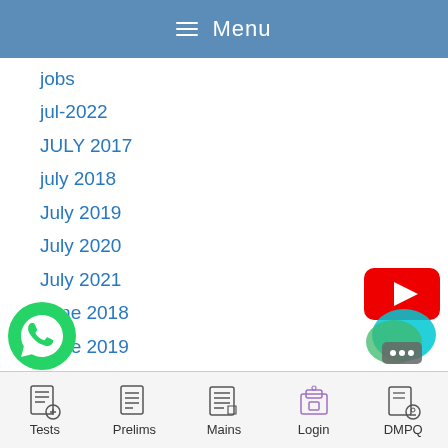≡ Menu
jobs
jul-2022
JULY 2017
july 2018
July 2019
July 2020
July 2021
June 2018
June 2019
june 2020
June 2021
[Figure (logo): YouTube play button red logo]
[Figure (logo): WhatsApp green phone logo]
[Figure (logo): Chat bubble messenger icon]
Tests | Prelims | Mains | Login | DMPQ